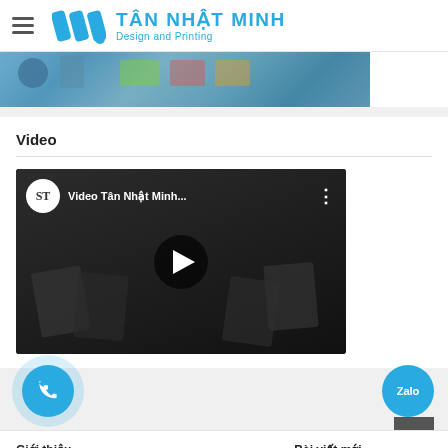Tân Nhật Minh — Design and Printing
[Figure (photo): Cropped photo of people working at a design/printing workspace with colorful materials]
Video
[Figure (screenshot): YouTube embedded video thumbnail: 'Video Tân Nhật Minh...' with play button]
[Figure (other): Phone call FAB button (blue circle with phone icon)]
[Figure (other): Zalo FAB button (blue circle with Zalo icon)]
[Figure (other): Scroll-to-top button (grey square with up arrow)]
Giới thiệu
Bài viết mới